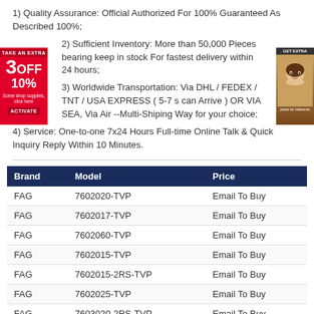1) Quality Assurance: Official Authorized For 100% Guaranteed As Described 100%;
2) Sufficient Inventory: More than 50,000 Pieces bearing keep in stock For fastest delivery within 24 hours;
3) Worldwide Transportation: Via DHL / FEDEX / TNT / USA EXPRESS ( 5-7 s can Arrive ) OR VIA SEA, Via Air --Multi-Shiping Way for your choice;
4) Service: One-to-one 7x24 Hours Full-time Online Talk & Quick Inquiry Reply Within 10 Minutes.
| Brand | Model | Price |
| --- | --- | --- |
| FAG | 7602020-TVP | Email To Buy |
| FAG | 7602017-TVP | Email To Buy |
| FAG | 7602060-TVP | Email To Buy |
| FAG | 7602015-TVP | Email To Buy |
| FAG | 7602015-2RS-TVP | Email To Buy |
| FAG | 7602025-TVP | Email To Buy |
| FAG | 7603020-2RS-TVP | Email To Buy |